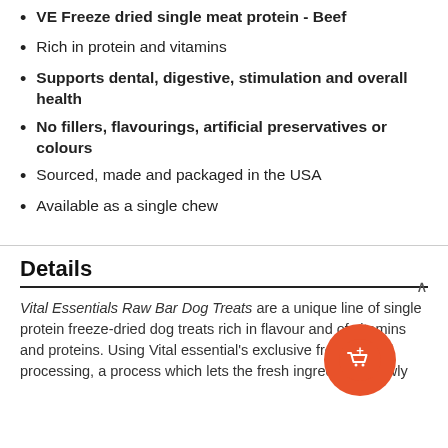VE Freeze dried single meat protein - Beef
Rich in protein and vitamins
Supports dental, digestive, stimulation and overall health
No fillers, flavourings, artificial preservatives or colours
Sourced, made and packaged in the USA
Available as a single chew
Details
Vital Essentials Raw Bar Dog Treats are a unique line of single protein freeze-dried dog treats rich in flavour and of vitamins and proteins. Using Vital essential's exclusive freeze-dried processing, a process which lets the fresh ingredients slowly